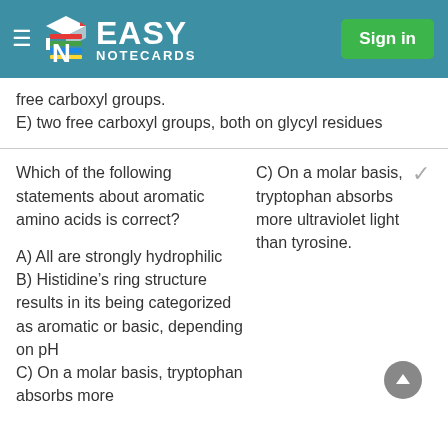EASY NOTECARDS
free carboxyl groups.
E) two free carboxyl groups, both on glycyl residues
Which of the following statements about aromatic amino acids is correct?

A) All are strongly hydrophilic
B) Histidine's ring structure results in its being categorized as aromatic or basic, depending on pH
C) On a molar basis, tryptophan absorbs more
C) On a molar basis, tryptophan absorbs more ultraviolet light than tyrosine.